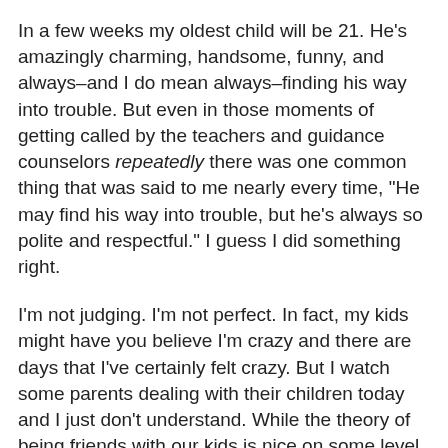In a few weeks my oldest child will be 21. He's amazingly charming, handsome, funny, and always–and I do mean always–finding his way into trouble. But even in those moments of getting called by the teachers and guidance counselors repeatedly there was one common thing that was said to me nearly every time, "He may find his way into trouble, but he's always so polite and respectful." I guess I did something right.
I'm not judging. I'm not perfect. In fact, my kids might have you believe I'm crazy and there are days that I've certainly felt crazy. But I watch some parents dealing with their children today and I just don't understand. While the theory of being friends with our kids is nice on some level, parenting has to come first and foremost.
Before we go any further, I'd love to know who made the bright decision to let 18-year-olds be adults. I often laugh when I